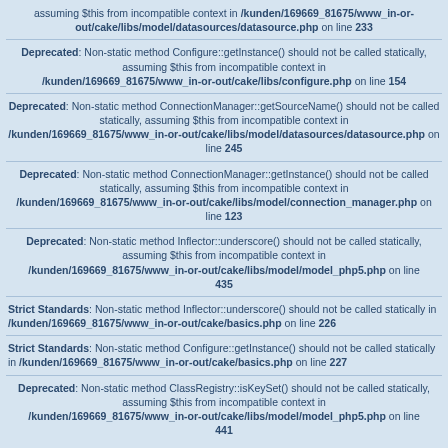assuming $this from incompatible context in /kunden/169669_81675/www_in-or-out/cake/libs/model/datasources/datasource.php on line 233
Deprecated: Non-static method Configure::getInstance() should not be called statically, assuming $this from incompatible context in /kunden/169669_81675/www_in-or-out/cake/libs/configure.php on line 154
Deprecated: Non-static method ConnectionManager::getSourceName() should not be called statically, assuming $this from incompatible context in /kunden/169669_81675/www_in-or-out/cake/libs/model/datasources/datasource.php on line 245
Deprecated: Non-static method ConnectionManager::getInstance() should not be called statically, assuming $this from incompatible context in /kunden/169669_81675/www_in-or-out/cake/libs/model/connection_manager.php on line 123
Deprecated: Non-static method Inflector::underscore() should not be called statically, assuming $this from incompatible context in /kunden/169669_81675/www_in-or-out/cake/libs/model/model_php5.php on line 435
Strict Standards: Non-static method Inflector::underscore() should not be called statically in /kunden/169669_81675/www_in-or-out/cake/basics.php on line 226
Strict Standards: Non-static method Configure::getInstance() should not be called statically in /kunden/169669_81675/www_in-or-out/cake/basics.php on line 227
Deprecated: Non-static method ClassRegistry::isKeySet() should not be called statically, assuming $this from incompatible context in /kunden/169669_81675/www_in-or-out/cake/libs/model/model_php5.php on line 441